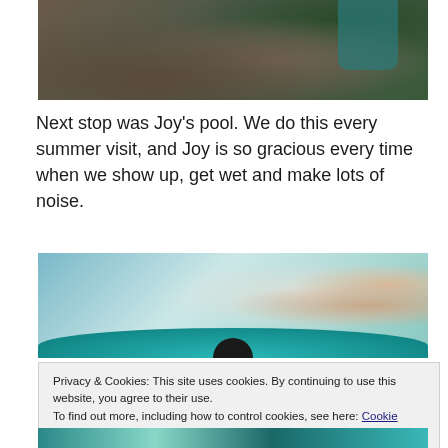[Figure (photo): Partial view of people lying on grass, showing clothing (brown/khaki pants, teal top) and green grass background — top portion cropped]
Next stop was Joy's pool. We do this every summer visit, and Joy is so gracious every time when we show up, get wet and make lots of noise.
[Figure (photo): Pool scene with water visible, white pool float/inflatable, teal/aqua patterned swim ring or floatie at bottom, and a person visible at the right side]
Privacy & Cookies: This site uses cookies. By continuing to use this website, you agree to their use.
To find out more, including how to control cookies, see here: Cookie Policy
[Figure (photo): Bottom strip of pool photo showing colorful pool floaties/toys in teal and bright colors in water]